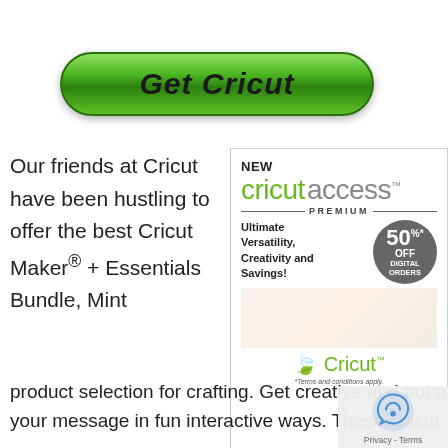[Figure (illustration): Green rounded button with italic bold text 'Get Cricut']
Our friends at Cricut have been hustling to offer the best Cricut Maker® + Essentials Bundle, Mint
[Figure (illustration): Cricut Access Premium advertisement showing logo, '50% OFF DIGITAL ORDERS', tagline 'Ultimate Versatility, Creativity and Savings!', Cricut brand logo, and '*Terms and conditions apply.']
product selection for crafting. Get creative and put a your message in fun interactive ways. These Cricut